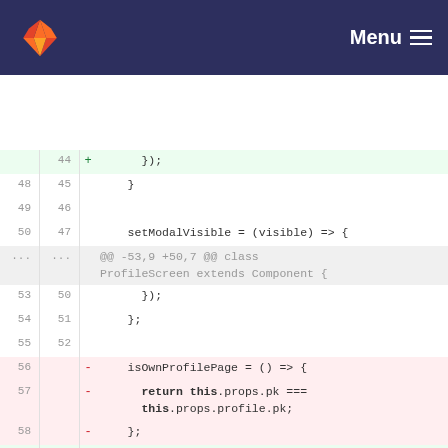GitLab Menu
[Figure (screenshot): GitLab code diff view showing changes to a JavaScript/React file. Lines 44-61 old and 44-56 new are shown. Removed lines (56-58) show isOwnProfilePage using this.props.pk, added lines (53) show isOwnProfilePage using this.props.userPk. Also shows setModalVisible arrow function and getAppbar with headerHeight.]